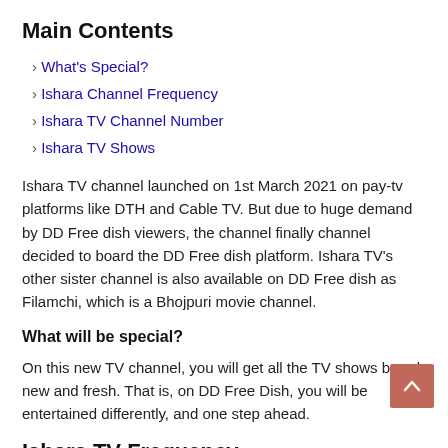Main Contents
What's Special?
Ishara Channel Frequency
Ishara TV Channel Number
Ishara TV Shows
Ishara TV channel launched on 1st March 2021 on pay-tv platforms like DTH and Cable TV. But due to huge demand by DD Free dish viewers, the channel finally channel decided to board the DD Free dish platform. Ishara TV's other sister channel is also available on DD Free dish as Filamchi, which is a Bhojpuri movie channel.
What will be special?
On this new TV channel, you will get all the TV shows brand new and fresh. That is, on DD Free Dish, you will be entertained differently, and one step ahead.
Ishara TV Frequency -